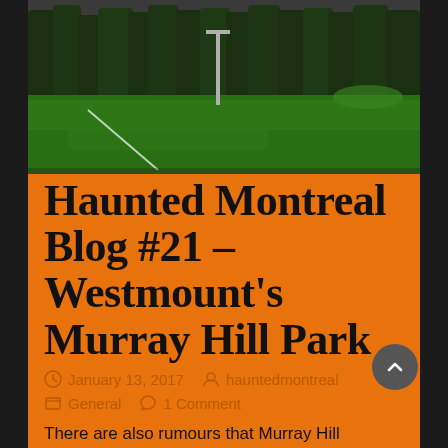[Figure (photo): Photograph of a green grass sports field or park with trees in the background and a light pole visible]
Haunted Montreal Blog #21 – Westmount's Murray Hill Park
January 13, 2017   hauntedmontreal   General   1 Comment
There are also rumours that Murray Hill